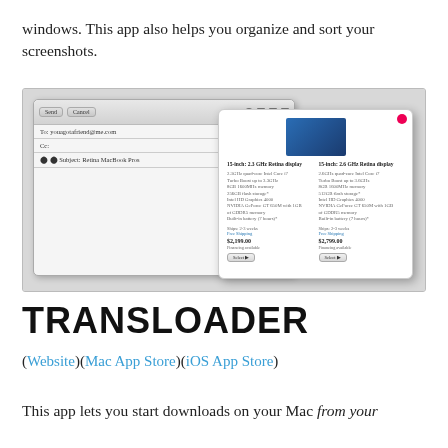windows. This app also helps you organize and sort your screenshots.
[Figure (screenshot): Screenshot showing an email compose window with 'To: youagotafriend@me.com' and 'Subject: Retina MacBook Pros', overlaid by a product popup showing two MacBook Pro Retina display models (15-inch: 2.3 GHz and 15-inch: 2.6 GHz) with prices $2,199.00 and $2,799.00]
TRANSLOADER
(Website)(Mac App Store)(iOS App Store)
This app lets you start downloads on your Mac from your